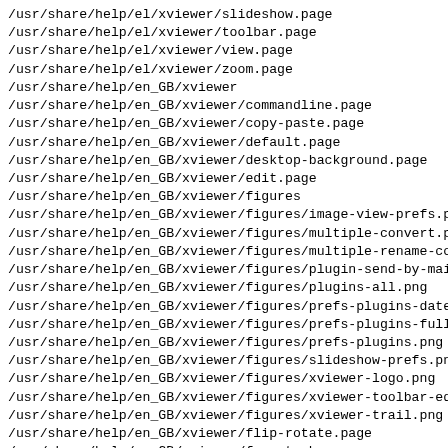/usr/share/help/el/xviewer/slideshow.page
/usr/share/help/el/xviewer/toolbar.page
/usr/share/help/el/xviewer/view.page
/usr/share/help/el/xviewer/zoom.page
/usr/share/help/en_GB/xviewer
/usr/share/help/en_GB/xviewer/commandline.page
/usr/share/help/en_GB/xviewer/copy-paste.page
/usr/share/help/en_GB/xviewer/default.page
/usr/share/help/en_GB/xviewer/desktop-background.page
/usr/share/help/en_GB/xviewer/edit.page
/usr/share/help/en_GB/xviewer/figures
/usr/share/help/en_GB/xviewer/figures/image-view-prefs.p…
/usr/share/help/en_GB/xviewer/figures/multiple-convert.p…
/usr/share/help/en_GB/xviewer/figures/multiple-rename-co…
/usr/share/help/en_GB/xviewer/figures/plugin-send-by-mai…
/usr/share/help/en_GB/xviewer/figures/plugins-all.png
/usr/share/help/en_GB/xviewer/figures/prefs-plugins-date…
/usr/share/help/en_GB/xviewer/figures/prefs-plugins-fulls…
/usr/share/help/en_GB/xviewer/figures/prefs-plugins.png
/usr/share/help/en_GB/xviewer/figures/slideshow-prefs.png
/usr/share/help/en_GB/xviewer/figures/xviewer-logo.png
/usr/share/help/en_GB/xviewer/figures/xviewer-toolbar-edi…
/usr/share/help/en_GB/xviewer/figures/xviewer-trail.png
/usr/share/help/en_GB/xviewer/flip-rotate.page
/usr/share/help/en_GB/xviewer/format-change.page
/usr/share/help/en_GB/xviewer/formats-save.page
/usr/share/help/en_GB/xviewer/formats-view.page
/usr/share/help/en_GB/xviewer/index.page
/usr/share/help/en_GB/xviewer/introduction.page
/usr/share/help/en_GB/xviewer/legal.xml